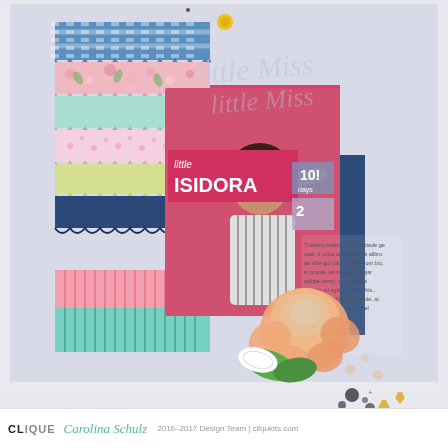[Figure (photo): Scrapbook layout page featuring a girl named Isidora. The layout includes a large decorative ruffled paper strip along the left side in various patterns (gingham, floral, polka dot, striped, pink, mint), a central photo of a young girl in a striped dress against a pink background with arms outstretched, the title 'little Miss ISIDORA' in mixed lettering, a large peach rose die-cut embellishment, journaling text, number stickers, a yellow brad/button, and various other scrapbooking embellishments on a light lavender background.]
CLIQUE   Carolina Schulz   2016–2017 Design Team | cliqukits.com